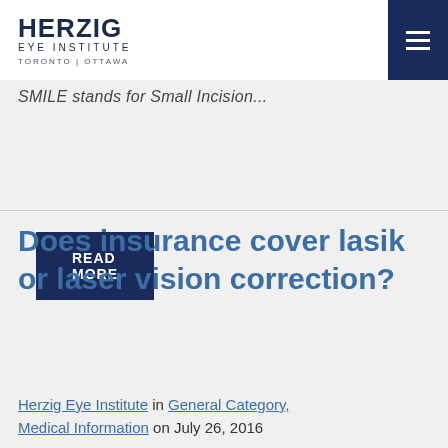HERZIG EYE INSTITUTE TORONTO | OTTAWA
SMILE stands for Small Incision...
READ MORE
Does insurance cover lasik or laser vision correction?
Herzig Eye Institute in General Category, Medical Information on July 26, 2016